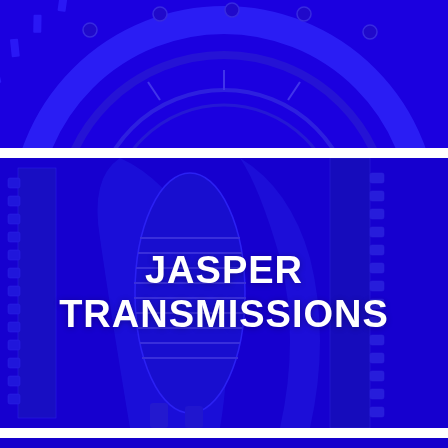[Figure (photo): Close-up photograph of a circular mechanical transmission component (flywheel or gear ring) with blue color overlay, cropped at top.]
[Figure (photo): Close-up photograph of automatic transmission internal gears and components with blue color overlay. White bold text overlay reads 'JASPER TRANSMISSIONS'.]
JASPER TRANSMISSIONS
[Figure (photo): Close-up photograph of a speedometer or gauge showing '60' marking with tick marks, with blue color overlay, partially visible at bottom of page.]